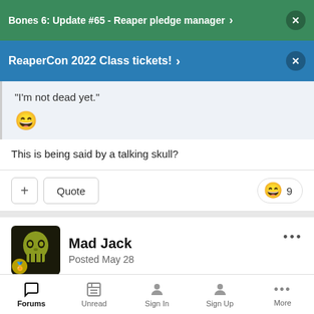Bones 6: Update #65 - Reaper pledge manager
ReaperCon 2022 Class tickets!
"I'm not dead yet." 😄
This is being said by a talking skull?
+ Quote  😄 9
Mad Jack
Posted May 28